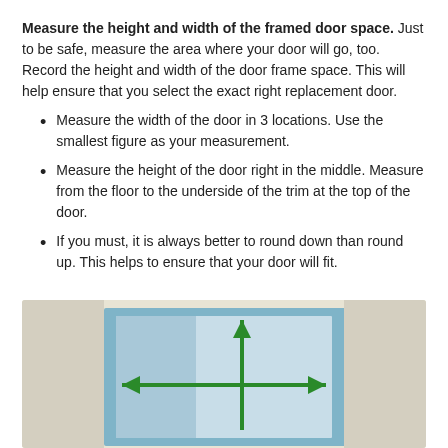Measure the height and width of the framed door space. Just to be safe, measure the area where your door will go, too. Record the height and width of the door frame space. This will help ensure that you select the exact right replacement door.
Measure the width of the door in 3 locations. Use the smallest figure as your measurement.
Measure the height of the door right in the middle. Measure from the floor to the underside of the trim at the top of the door.
If you must, it is always better to round down than round up. This helps to ensure that your door will fit.
[Figure (illustration): Illustration of a door frame with green measurement arrows: one horizontal arrow pointing left and right across the width, and one vertical arrow pointing up through the height, forming a cross shape. The door frame is light blue/grey with a white/light interior.]